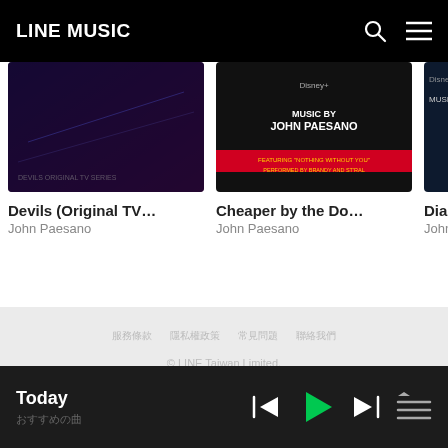LINE MUSIC
[Figure (screenshot): Album art for Devils (Original TV...) by John Paesano — dark blue/red sci-fi style cover]
Devils (Original TV...
John Paesano
[Figure (screenshot): Album art for Cheaper by the Do... by John Paesano — Disney+ music cover with text MUSIC BY JOHN PAESANO]
Cheaper by the Do...
John Paesano
[Figure (screenshot): Album art for Diary of a W... by John Paesano — partially visible Disney+ cover]
Diary of a W...
John Paesar...
服務條款　　隱私權政策　　常見問題　　聯絡我們
© LINE Taiwan Limited.
[Figure (logo): LINE app icon, Instagram icon, Facebook icon — social media icons in gray]
Today
おすすめの曲